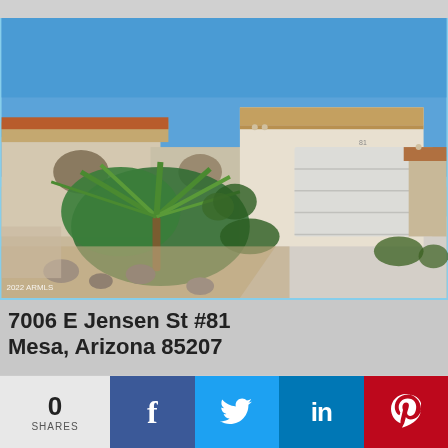[Figure (photo): Exterior photo of a single-story home with desert landscaping, palm trees, gravel yard, large two-car garage door, stucco walls with terra cotta accent trim, blue sky background. Watermark reads '2022 ARMLS' in lower left.]
7006 E Jensen St #81
Mesa, Arizona 85207
0
SHARES
f
t (Twitter bird icon)
in
P (Pinterest icon)